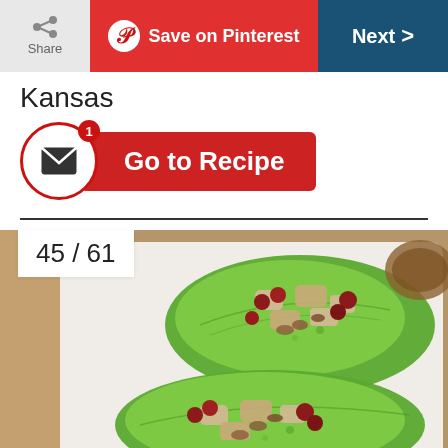Share | Save on Pinterest | Next
Kansas
Go to Recipe
[Figure (photo): Two romaine lettuce wraps filled with chicken salad, grapes, and pecans on a white rectangular plate, viewed from above.]
45 / 61